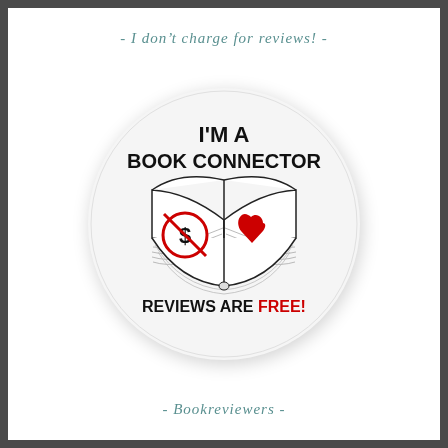- I don't charge for reviews! -
[Figure (illustration): A circular badge/button with white background. Text at top reads 'I'M A BOOK CONNECTOR'. In the center is an illustrated open book. On the left page of the book is a red 'no money' symbol (circle with dollar sign and diagonal slash). On the right page is a red heart. Below the book text reads 'REVIEWS ARE FREE!' with 'FREE!' in red.]
- Bookreviewers -